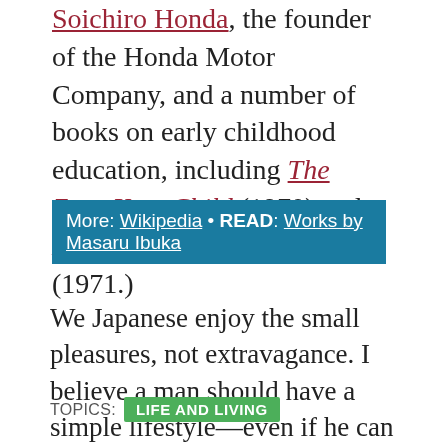Soichiro Honda, the founder of the Honda Motor Company, and a number of books on early childhood education, including The Zero-Year Child (1970) and Kindergarten is Too Late (1971.)
More: Wikipedia • READ: Works by Masaru Ibuka
We Japanese enjoy the small pleasures, not extravagance. I believe a man should have a simple lifestyle—even if he can afford more. —Masaru Ibuka
TOPICS: LIFE AND LIVING